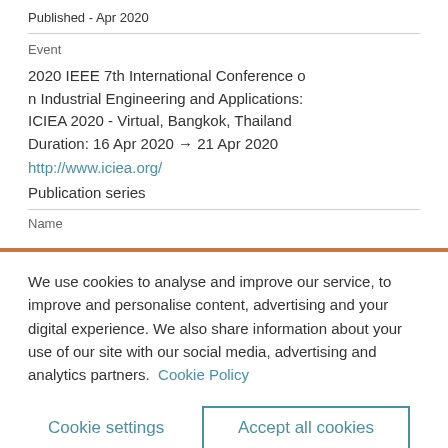Published - Apr 2020
Event
2020 IEEE 7th International Conference on Industrial Engineering and Applications: ICIEA 2020 - Virtual, Bangkok, Thailand
Duration: 16 Apr 2020 → 21 Apr 2020
http://www.iciea.org/
Publication series
Name
We use cookies to analyse and improve our service, to improve and personalise content, advertising and your digital experience. We also share information about your use of our site with our social media, advertising and analytics partners.  Cookie Policy
Cookie settings
Accept all cookies